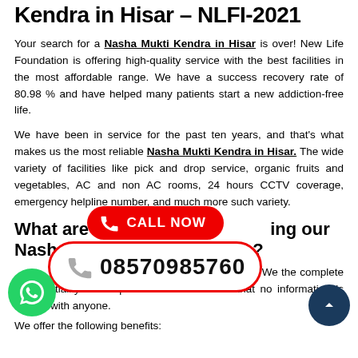Kendra in Hisar – NLFI-2021
Your search for a Nasha Mukti Kendra in Hisar is over! New Life Foundation is offering high-quality service with the best facilities in the most affordable range. We have a success recovery rate of 80.98 % and have helped many patients start a new addiction-free life.
We have been in service for the past ten years, and that's what makes us the most reliable Nasha Mukti Kendra in Hisar. The wide variety of facilities like pick and drop service, organic fruits and vegetables, AC and non AC rooms, 24 hours CCTV coverage, emergency helpline number, and much more such variety.
What are the benefits of using our Nasha Mukti Kendra in Hisar?
Mukti Kendra … We the complete confidentiality of the patient make sure that no information is shared with anyone.
We offer the following benefits:
[Figure (infographic): Red CALL NOW badge with phone icon and phone number 08570985760 displayed in a white rounded rectangle with red border. WhatsApp green circle button on bottom left. Dark blue scroll-to-top circle button on bottom right.]